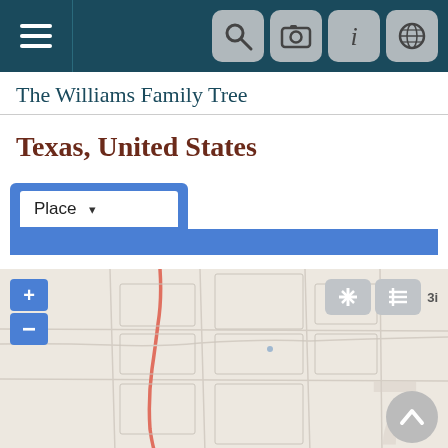The Williams Family Tree – navigation bar
The Williams Family Tree
Texas, United States
[Figure (screenshot): Filter dropdown showing 'Place' with a blue bar below]
[Figure (map): Map of Texas area showing roads and terrain in muted beige/pink tones with zoom controls and map action buttons]